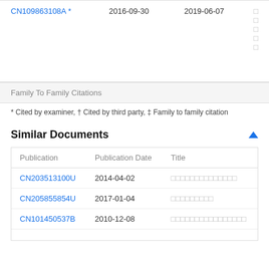| Publication | Publication Date |  | Title |
| --- | --- | --- | --- |
| CN109863108A * | 2016-09-30 | 2019-06-07 | □□□□□ |
Family To Family Citations
* Cited by examiner, † Cited by third party, ‡ Family to family citation
Similar Documents
| Publication | Publication Date | Title |
| --- | --- | --- |
| CN203513100U | 2014-04-02 | □□□□□□□□□□□□□□ |
| CN205855854U | 2017-01-04 | □□□□□□□□□ |
| CN101450537B | 2010-12-08 | □□□□□□□□□□□□□□□□ |